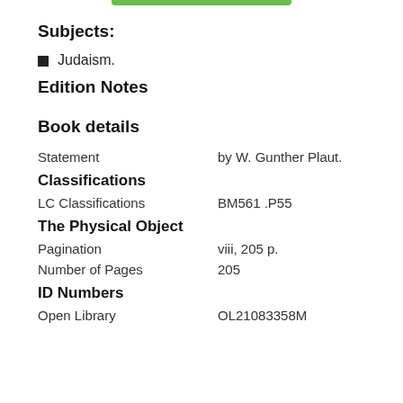Subjects:
Judaism.
Edition Notes
Book details
Statement   by W. Gunther Plaut.
Classifications
LC Classifications   BM561 .P55
The Physical Object
Pagination   viii, 205 p.
Number of Pages   205
ID Numbers
Open Library   OL21083358M